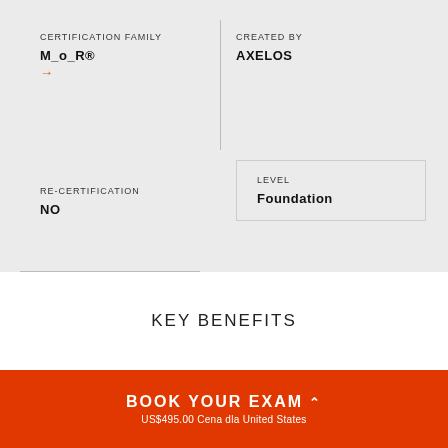CERTIFICATION FAMILY
M_o_R®
CREATED BY
AXELOS
LEVEL
Foundation
RE-CERTIFICATION
NO
KEY BENEFITS
BOOK YOUR EXAM
US$495.00 Cena dla United States